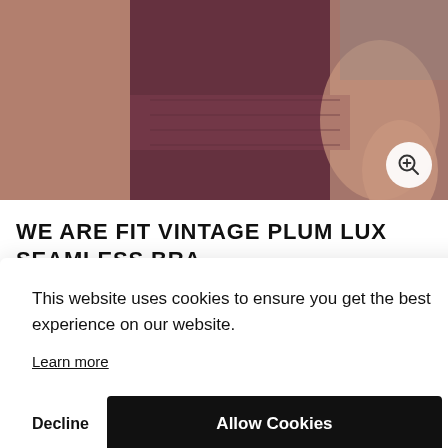[Figure (photo): Woman wearing a dark plum/burgundy seamless sports bra and high-waist leggings set, showing midriff and back. A circular zoom button with a magnifying glass icon is visible in the bottom-right corner of the image.]
WE ARE FIT VINTAGE PLUM LUX SEAMLESS BRA
This website uses cookies to ensure you get the best experience on our website.
Learn more
Decline
Allow Cookies